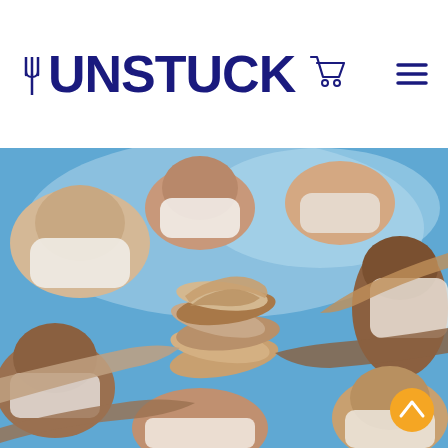[Figure (logo): UNSTUCK logo with fork icon above the letter U and a shopping cart icon to the right, in dark navy blue]
[Figure (photo): Group of diverse people looking up at the camera from below with hands stacked together in a team huddle against a blue sky background]